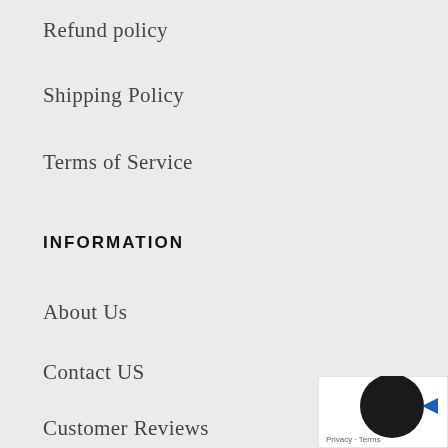Refund policy
Shipping Policy
Terms of Service
Information
About Us
Contact US
Customer Reviews
Good Friend Guarantee
[Figure (other): Cookie consent widget with dark circle icon and blue arrow, showing 'Privacy · Terms' text]